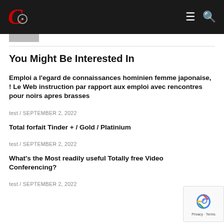C [logo] [menu icon] [search icon]
You Might Be Interested In
Emploi a l'egard de connaissances hominien femme japonaise, ! Le Web instruction par rapport aux emploi avec rencontres pour noirs apres brasses
test / SEPTEMBER 2, 2022
Total forfait Tinder + / Gold / Platinium
test / SEPTEMBER 2, 2022
What's the Most readily useful Totally free Video Conferencing?
test / SEPTEMBER 2, 2022